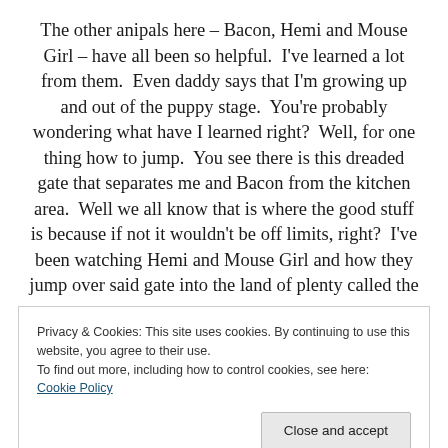The other anipals here – Bacon, Hemi and Mouse Girl – have all been so helpful.  I've learned a lot from them.  Even daddy says that I'm growing up and out of the puppy stage.  You're probably wondering what have I learned right?  Well, for one thing how to jump.  You see there is this dreaded gate that separates me and Bacon from the kitchen area.  Well we all know that is where the good stuff is because if not it wouldn't be off limits, right?  I've been watching Hemi and Mouse Girl and how they jump over said gate into the land of plenty called the
Privacy & Cookies: This site uses cookies. By continuing to use this website, you agree to their use.
To find out more, including how to control cookies, see here: Cookie Policy
The only reason he know I was missing was because I sat